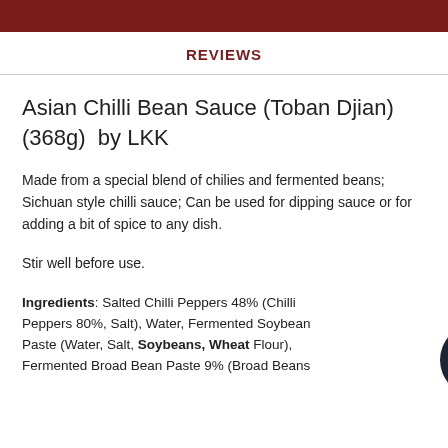REVIEWS
Asian Chilli Bean Sauce (Toban Djian) (368g)  by LKK
Made from a special blend of chilies and fermented beans; Sichuan style chilli sauce; Can be used for dipping sauce or for adding a bit of spice to any dish.
Stir well before use.
Ingredients: Salted Chilli Peppers 48% (Chilli Peppers 80%, Salt), Water, Fermented Soybean Paste (Water, Salt, Soybeans, Wheat Flour), Fermented Broad Bean Paste 9% (Broad Beans